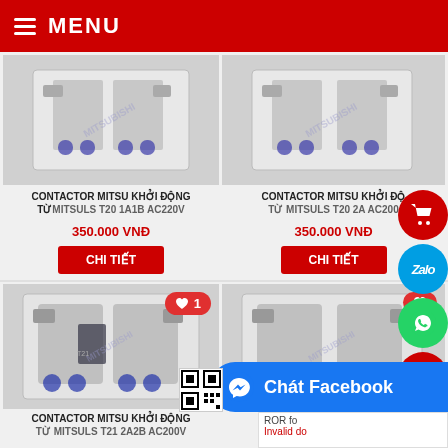≡ MENU
[Figure (photo): Contactor Mitsu product image top-left, Mitsubishi brand electrical contactor]
CONTACTOR MITSU KHỞI ĐỘNG TỪ MITSUBISHI T20 1A1B AC220V
350.000 VNĐ
CHI TIẾT
[Figure (photo): Contactor Mitsu product image top-right, Mitsubishi brand electrical contactor]
CONTACTOR MITSU KHỞI ĐỘNG TỪ MITSUBISHI T20 2A AC200
350.000 VNĐ
CHI TIẾT
[Figure (photo): Contactor Mitsu product image bottom-left with like badge showing 1, Mitsubishi T21 2A2B AC200V]
CONTACTOR MITSU KHỞI ĐỘNG TỪ MITSUBISHI T21 2A2B AC200V
[Figure (photo): Contactor Mitsu product image bottom-right with heart like button, Mitsubishi T20 2A AC24V]
CONTACTOR MITSU KHỞI ĐỘNG TỪ MITSUBISHI T20 2A AC24V
Chát Facebook
ROR fo
Invalid do